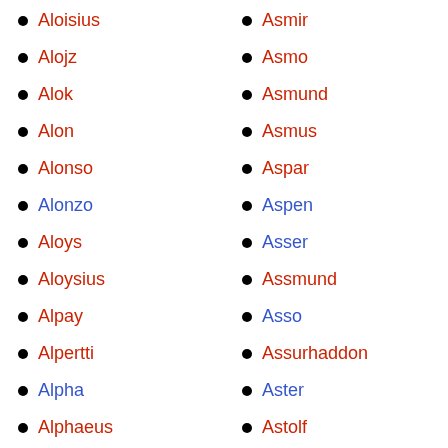Aloisius
Alojz
Alok
Alon
Alonso
Alonzo
Aloys
Aloysius
Alpay
Alpertti
Alpha
Alphaeus
Alphan
Asmir
Asmo
Asmund
Asmus
Aspar
Aspen
Asser
Assmund
Asso
Assurhaddon
Aster
Astolf
Astolfo